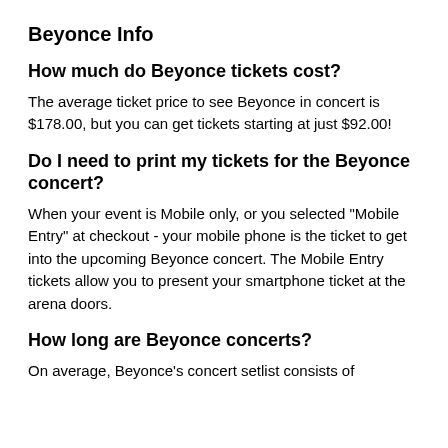Beyonce Info
How much do Beyonce tickets cost?
The average ticket price to see Beyonce in concert is $178.00, but you can get tickets starting at just $92.00!
Do I need to print my tickets for the Beyonce concert?
When your event is Mobile only, or you selected "Mobile Entry" at checkout - your mobile phone is the ticket to get into the upcoming Beyonce concert. The Mobile Entry tickets allow you to present your smartphone ticket at the arena doors.
How long are Beyonce concerts?
On average, Beyonce's concert setlist consists of